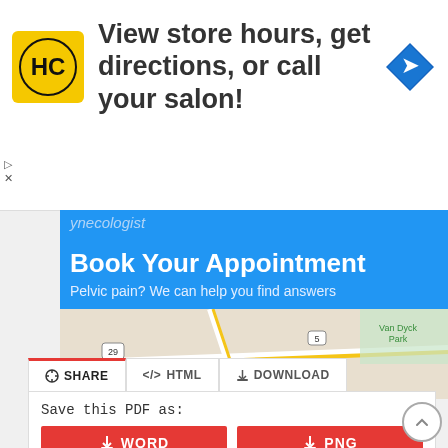[Figure (screenshot): HC (Hair Club) logo ad banner: yellow square logo with HC text, ad headline 'View store hours, get directions, or call your salon!', blue diamond navigation icon, and small close/skip controls]
[Figure (screenshot): Medical gynecologist ad: blue background with 'Book Your Appointment' heading, subtext 'Pelvic pain? We can help you find answers', map thumbnail below]
Save this PDF as:
WORD
PNG
TXT
JPG